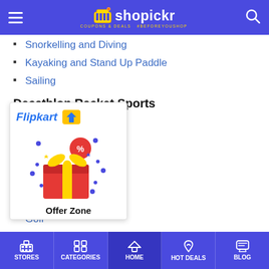shopickr - COUPONS & DEALS #BEFOREYOUSHOP
Snorkelling and Diving
Kayaking and Stand Up Paddle
Sailing
Decathlon Racket Sports
Badminton
[Figure (advertisement): Flipkart Offer Zone advertisement showing Flipkart logo with cart icon and a gift box with celebration elements, labeled 'Offer Zone']
...orts
Golf
Archery
Darts
STORES | CATEGORIES | HOME | HOT DEALS | BLOG